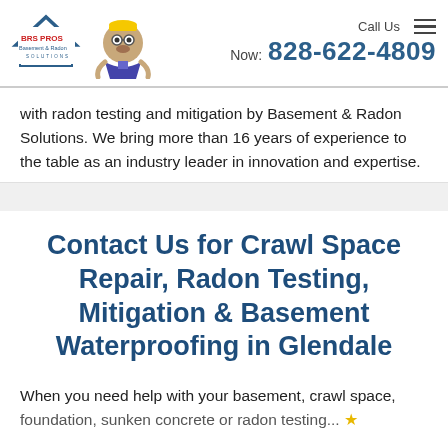[Figure (logo): BRS PROS Basement & Radon Solutions logo with mascot character wearing hard hat]
Call Us Now: 828-622-4809
with radon testing and mitigation by Basement & Radon Solutions. We bring more than 16 years of experience to the table as an industry leader in innovation and expertise.
Contact Us for Crawl Space Repair, Radon Testing, Mitigation & Basement Waterproofing in Glendale
When you need help with your basement, crawl space, foundation, sunken concrete or radon testing...